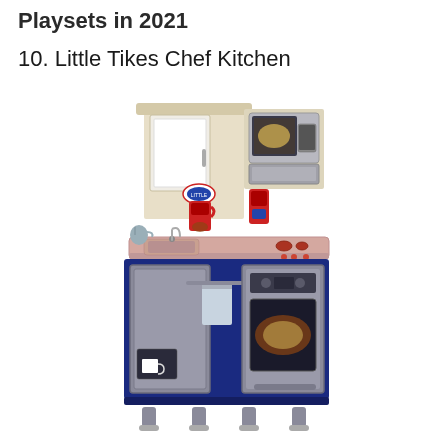Playsets in 2021
10. Little Tikes Chef Kitchen
[Figure (photo): Little Tikes Chef Kitchen playset toy — a plastic toy kitchen with blue lower cabinets, silver/gray oven door, beige/cream upper cabinet with a white door, pink countertop with a sink, red appliances (coffee maker/blender), a gray microwave on the right side, a towel hanging on the front bar, and a small white cup visible in the lower left cabinet window. The kitchen sits on small silver legs.]